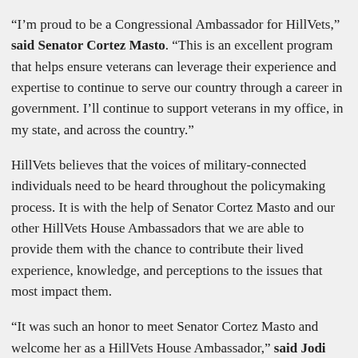“I’m proud to be a Congressional Ambassador for HillVets,” said Senator Cortez Masto. “This is an excellent program that helps ensure veterans can leverage their experience and expertise to continue to serve our country through a career in government. I’ll continue to support veterans in my office, in my state, and across the country.”
HillVets believes that the voices of military-connected individuals need to be heard throughout the policymaking process. It is with the help of Senator Cortez Masto and our other HillVets House Ambassadors that we are able to provide them with the chance to contribute their lived experience, knowledge, and perceptions to the issues that most impact them.
“It was such an honor to meet Senator Cortez Masto and welcome her as a HillVets House Ambassador,” said Jodi Harman, HillVets Director of Programs & Communications. “We look forward to the